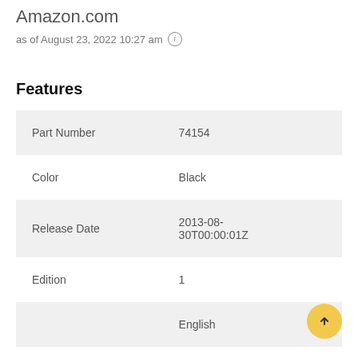Amazon.com
as of August 23, 2022 10:27 am ⓘ
Features
|  |  |
| --- | --- |
| Part Number | 74154 |
| Color | Black |
| Release Date | 2013-08-30T00:00:01Z |
| Edition | 1 |
|  | English |